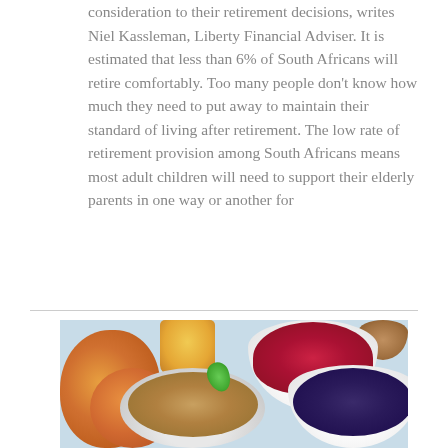consideration to their retirement decisions, writes Niel Kassleman, Liberty Financial Adviser. It is estimated that less than 6% of South Africans will retire comfortably. Too many people don't know how much they need to put away to maintain their standard of living after retirement. The low rate of retirement provision among South Africans means most adult children will need to support their elderly parents in one way or another for
[Figure (photo): A photo of healthy breakfast foods including bowls of raspberries, blueberries, cereal topped with fruit, nectarines/peaches, a glass of orange juice, and a small bowl of nuts or granola, arranged on a light blue checkered cloth.]